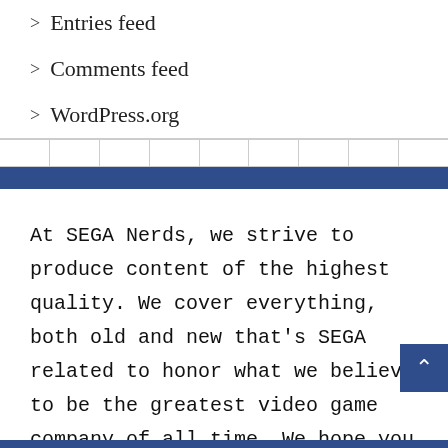> Entries feed
> Comments feed
> WordPress.org
At SEGA Nerds, we strive to produce content of the highest quality. We cover everything, both old and new that's SEGA related to honor what we believe to be the greatest video game company of all time. We hope you enjoy your time at our humble, little site. Keep the dream alive!